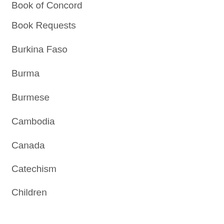Book of Concord
Book Requests
Burkina Faso
Burma
Burmese
Cambodia
Canada
Catechism
Children
China
Chinese